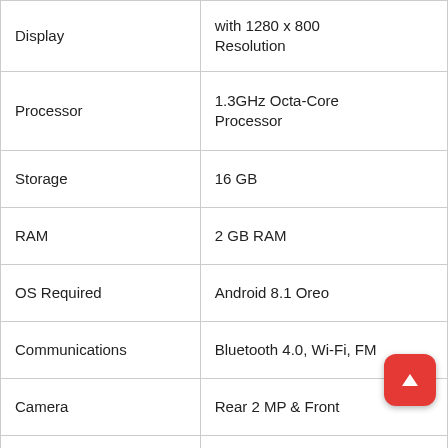| Feature | Details |
| --- | --- |
| Display | with 1280 x 800 Resolution |
| Processor | 1.3GHz Octa-Core Processor |
| Storage | 16 GB |
| RAM | 2 GB RAM |
| OS Required | Android 8.1 Oreo |
| Communications | Bluetooth 4.0, Wi-Fi, FM |
| Camera | Rear 2 MP & Front |
| Battery Life | 5 hours |
|  |  |